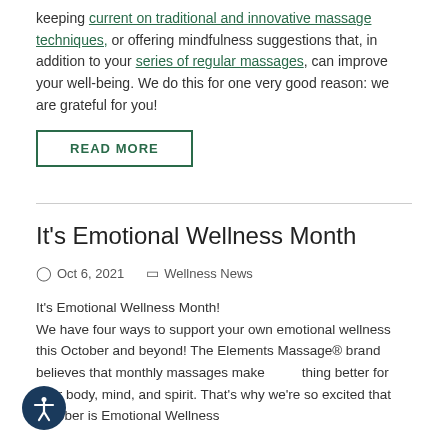keeping current on traditional and innovative massage techniques, or offering mindfulness suggestions that, in addition to your series of regular massages, can improve your well-being. We do this for one very good reason: we are grateful for you!
READ MORE
It's Emotional Wellness Month
Oct 6, 2021   Wellness News
It's Emotional Wellness Month! We have four ways to support your own emotional wellness this October and beyond! The Elements Massage® brand believes that monthly massages make everything better for your body, mind, and spirit. That's why we're so excited that October is Emotional Wellness